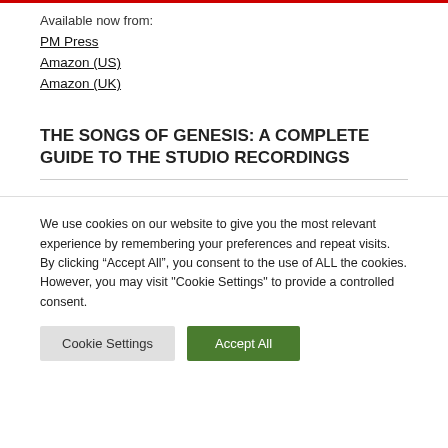Available now from:
PM Press
Amazon (US)
Amazon (UK)
THE SONGS OF GENESIS: A COMPLETE GUIDE TO THE STUDIO RECORDINGS
We use cookies on our website to give you the most relevant experience by remembering your preferences and repeat visits. By clicking “Accept All”, you consent to the use of ALL the cookies. However, you may visit "Cookie Settings" to provide a controlled consent.